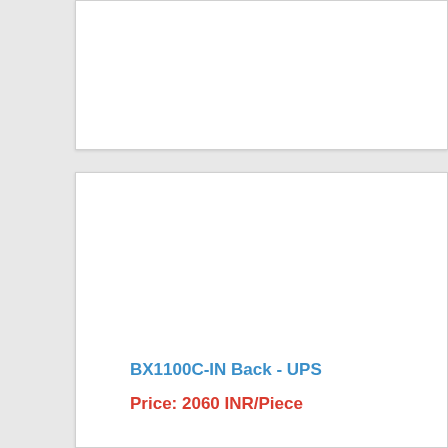[Figure (photo): Top portion of a product card (cropped, mostly white space) for a UPS product listing]
[Figure (photo): Bottom product card showing product image area (white/blank) for BX1100C-IN Back UPS]
BX1100C-IN Back - UPS
Price: 2060 INR/Piece